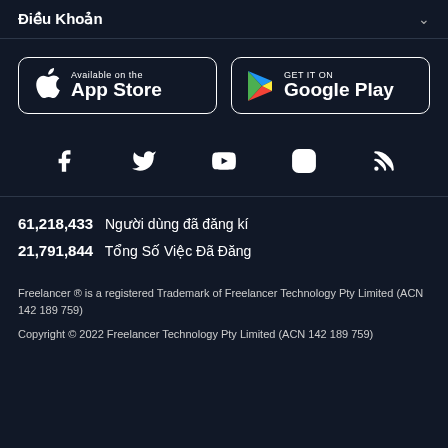Điều Khoản
[Figure (logo): App Store and Google Play store download buttons]
[Figure (infographic): Social media icons: Facebook, Twitter, YouTube, Instagram, RSS]
61,218,433  Người dùng đã đăng kí
21,791,844  Tổng Số Việc Đã Đăng
Freelancer ® is a registered Trademark of Freelancer Technology Pty Limited (ACN 142 189 759)
Copyright © 2022 Freelancer Technology Pty Limited (ACN 142 189 759)